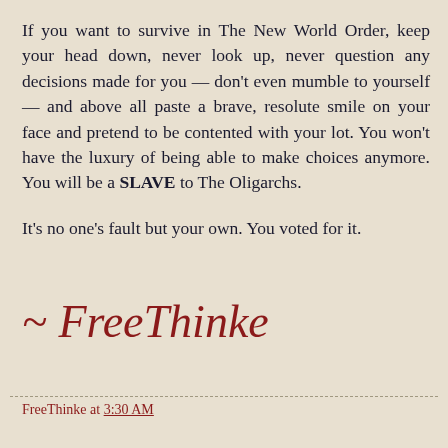If you want to survive in The New World Order, keep your head down, never look up, never question any decisions made for you — don't even mumble to yourself — and above all paste a brave, resolute smile on your face and pretend to be contented with your lot. You won't have the luxury of being able to make choices anymore. You will be a SLAVE to The Oligarchs.

It's no one's fault but your own. You voted for it.
~ FreeThinke
FreeThinke at 3:30 AM